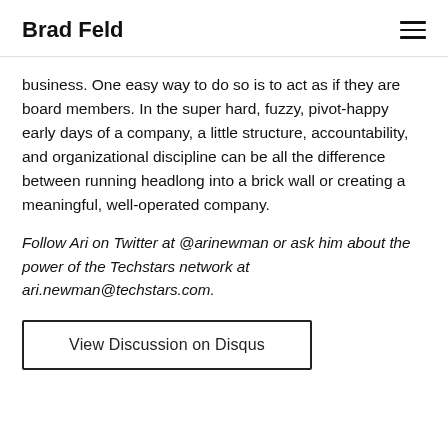Brad Feld
business. One easy way to do so is to act as if they are board members. In the super hard, fuzzy, pivot-happy early days of a company, a little structure, accountability, and organizational discipline can be all the difference between running headlong into a brick wall or creating a meaningful, well-operated company.
Follow Ari on Twitter at @arinewman or ask him about the power of the Techstars network at ari.newman@techstars.com.
View Discussion on Disqus